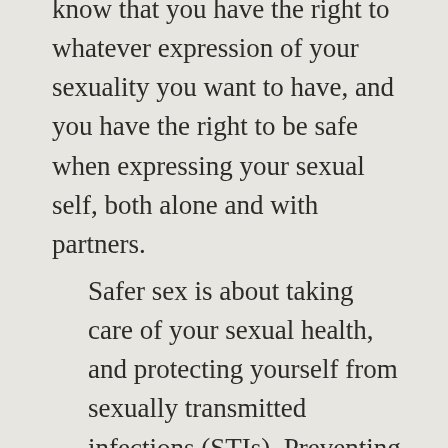know that you have the right to whatever expression of your sexuality you want to have, and you have the right to be safe when expressing your sexual self, both alone and with partners.
Safer sex is about taking care of your sexual health, and protecting yourself from sexually transmitted infections (STIs). Preventing unwanted